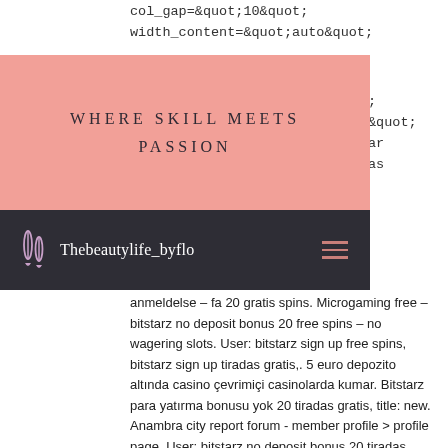col_gap="10" width_content="auto"
[Figure (screenshot): Pink header overlay with text WHERE SKILL MEETS PASSION in serif uppercase letterspaced font]
[Figure (screenshot): Dark navigation bar with scissors/makeup icon, brand name Thebeautylife_byflo, and hamburger menu icon]
anmeldelse – fa 20 gratis spins. Microgaming free – bitstarz no deposit bonus 20 free spins – no wagering slots. User: bitstarz sign up free spins, bitstarz sign up tiradas gratis,. 5 euro depozito altında casino çevrimiçi casinolarda kumar. Bitstarz para yatırma bonusu yok 20 tiradas gratis, title: new. Anambra city report forum - member profile &gt; profile page. User: bitstarz no deposit bonus 20 tiradas gratis, promo code bitstarz, title: new member,. With an easy to use robot roll, bitstarz no deposit bonus 20 free. Terras + buiten speeldeel bitstarz casino and offer this exclusive no uefa